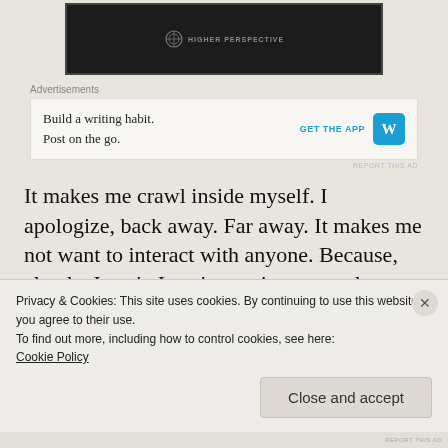[Figure (photo): Partial black and white image with Higher Perspective logo overlay at top]
Advertisements
[Figure (screenshot): Advertisement: Build a writing habit. Post on the go. GET THE APP with WordPress logo]
It makes me crawl inside myself. I apologize, back away. Far away. It makes me not want to interact with anyone. Because, clearly, I can't. I can't sustain a normal fucking...whatever you
Privacy & Cookies: This site uses cookies. By continuing to use this website, you agree to their use.
To find out more, including how to control cookies, see here:
Cookie Policy
Close and accept